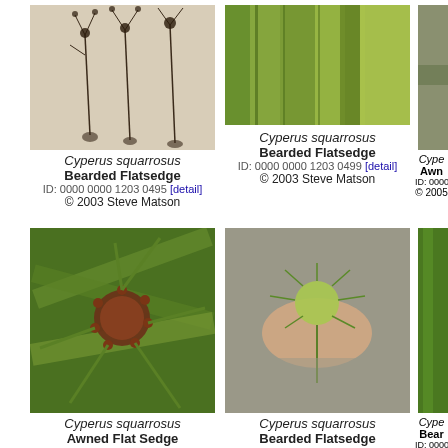[Figure (photo): Herbarium specimen of Cyperus squarrosus - dried plant specimens on light background]
Cyperus squarrosus
Bearded Flatsedge
ID: 0000 0000 1203 0495 [detail]
© 2003 Steve Matson
[Figure (photo): Close-up of Cyperus squarrosus green leaves/bracts]
Cyperus squarrosus
Bearded Flatsedge
ID: 0000 0000 1203 0499 [detail]
© 2003 Steve Matson
[Figure (photo): Partial view of Cyperus plant on rocky ground]
Cype
Awn
ID: 0000 0...
© 2005
[Figure (photo): Close-up of Cyperus squarrosus plant with reddish-brown flower head and green strap-like leaves]
Cyperus squarrosus
Awned Flat Sedge
ID: 0000 0000 0109 1467 [detail]
© 2009 Keir Morse
[Figure (photo): Hand holding Cyperus squarrosus showing spiky flower head]
Cyperus squarrosus
Bearded Flatsedge
ID: 0000 0000 1111 0810 [detail]
© 2011 Neal Kramer
[Figure (photo): Partial view of Cype plant - green mossy looking]
Cype
Bear
ID: 0000 0...
© 201...